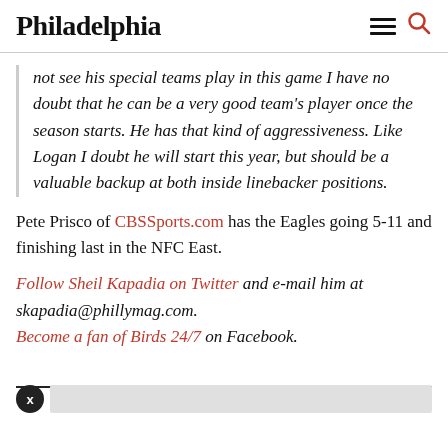Philadelphia
not see his special teams play in this game I have no doubt that he can be a very good team's player once the season starts. He has that kind of aggressiveness. Like Logan I doubt he will start this year, but should be a valuable backup at both inside linebacker positions.
Pete Prisco of CBSSports.com has the Eagles going 5-11 and finishing last in the NFC East.
Follow Sheil Kapadia on Twitter and e-mail him at skapadia@phillymag.com. Become a fan of Birds 24/7 on Facebook.